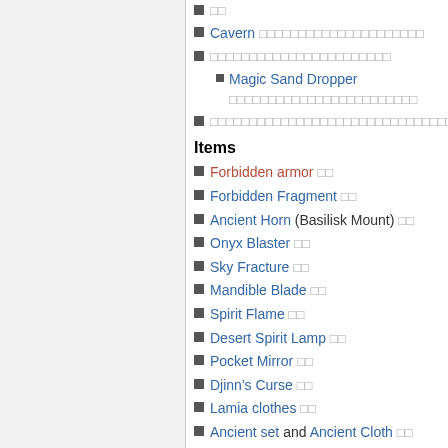□□
Cavern □□□□□□□□□□□□□□□□□□□□□
□□□□□□□□□□□□□□□□□□□□□□□
Magic Sand Dropper □□□□□□□□□□□□□□□□□□□□□□□□
□□□□□□□□□□□□□□□□□□□□□□□□□□□□□□□□□□
Items
Forbidden armor □□
Forbidden Fragment □□
Ancient Horn (Basilisk Mount) □□
Onyx Blaster □□
Sky Fracture □□
Mandible Blade □□
Spirit Flame □□
Desert Spirit Lamp □□
Pocket Mirror □□
Djinn's Curse □□
Lamia clothes □□
Ancient set and Ancient Cloth □□
Magic Sand Dropper □□
Music Box (Sandstorm) □□
Sand Elemental □□